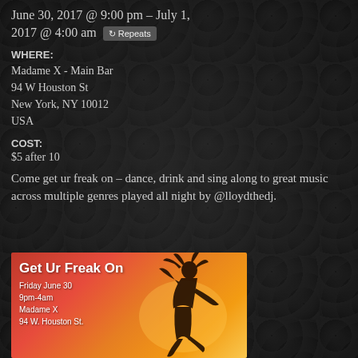June 30, 2017 @ 9:00 pm – July 1, 2017 @ 4:00 am  Repeats
WHERE:
Madame X - Main Bar
94 W Houston St
New York, NY 10012
USA
COST:
$5 after 10
Come get ur freak on – dance, drink and sing along to great music across multiple genres played all night by @lloydthedj.
[Figure (photo): Event flyer for 'Get Ur Freak On' showing a silhouette of a dancer against an orange/red background, with text: Get Ur Freak On, Friday June 30, 9pm-4am, Madame X, 94 W. Houston St.]